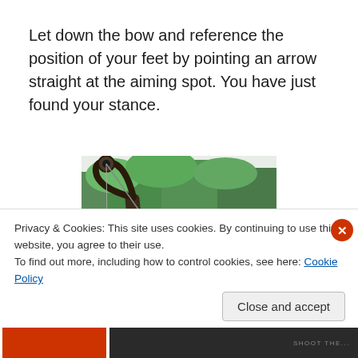Let down the bow and reference the position of your feet by pointing an arrow straight at the aiming spot. You have just found your stance.
[Figure (photo): A man wearing a black baseball cap holds a camouflage compound bow at full draw, outdoors with green trees in the background.]
Privacy & Cookies: This site uses cookies. By continuing to use this website, you agree to their use.
To find out more, including how to control cookies, see here: Cookie Policy
Close and accept
SHOOT THE...